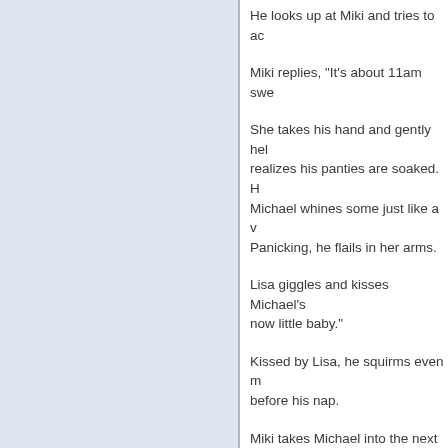He looks up at Miki and tries to ac
Miki replies, "It's about 11am swe
She takes his hand and gently hel realizes his panties are soaked. H Michael whines some just like a v Panicking, he flails in her arms.
Lisa giggles and kisses Michael's now little baby."
Kissed by Lisa, he squirms even m before his nap.
Miki takes Michael into the next ro
He whines in a little boy's voice, "l
Lisa smirks and sniffs at the air, "A
Michael tries to pull the panties ba
Miki nods and says, "Well if bab